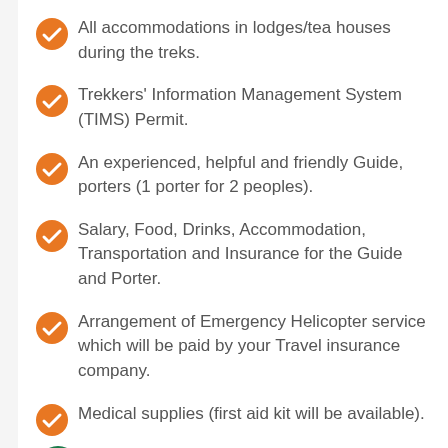All accommodations in lodges/tea houses during the treks.
Trekkers' Information Management System (TIMS) Permit.
An experienced, helpful and friendly Guide, porters (1 porter for 2 peoples).
Salary, Food, Drinks, Accommodation, Transportation and Insurance for the Guide and Porter.
Arrangement of Emergency Helicopter service which will be paid by your Travel insurance company.
Medical supplies (first aid kit will be available).
Farewell dinner in typical Nepali Restaurant